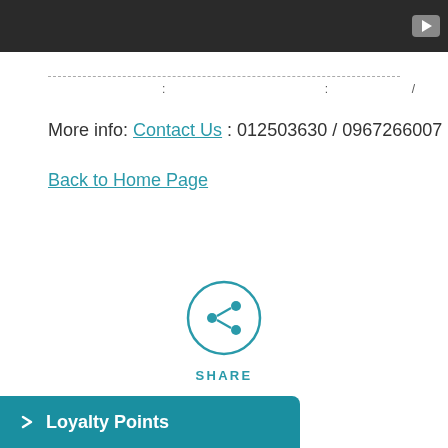[Figure (screenshot): Dark video player bar with play button icon at top right]
------------------------------------------------------------------------ : : /
More info: Contact Us : 012503630 / 0967266007
Back to Home Page
[Figure (infographic): Share button: circle with share icon and SHARE label below]
Loyalty Points